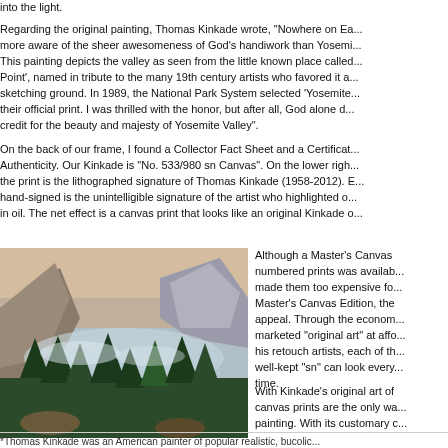into the light.
Regarding the original painting, Thomas Kinkade wrote, "Nowhere on Earth are we more aware of the sheer awesomeness of God's handiwork than Yosemite Valley. This painting depicts the valley as seen from the little known place called 'Artists Point', named in tribute to the many 19th century artists who favored it as a sketching ground. In 1989, the National Park System selected 'Yosemite' as their official print. I was thrilled with the honor, but after all, God alone deserves credit for the beauty and majesty of Yosemite Valley".
On the back of our frame, I found a Collector Fact Sheet and a Certificate of Authenticity. Our Kinkade is "No. 533/980 sn Canvas". On the lower right of the print is the lithographed signature of Thomas Kinkade (1958-2012). Below and hand-signed is the unintelligible signature of the artist who highlighted our print in oil. The net effect is a canvas print that looks like an original Kinkade o...
[Figure (photo): Painting of Yosemite Valley showing El Capitan and Half Dome with trees in foreground and misty atmospheric light]
Although a Master's Canvas numbered prints was available, made them too expensive for Master's Canvas Edition, the appeal. Through the econom... marketed "original art" at affo... his retouch artists, each of th... well-kept "sn" can look every time.
With Kinkade's original art of canvas prints are the only wa... painting. With its customary c...
*Thomas Kinkade was an American painter of popular realistic, bucolic...